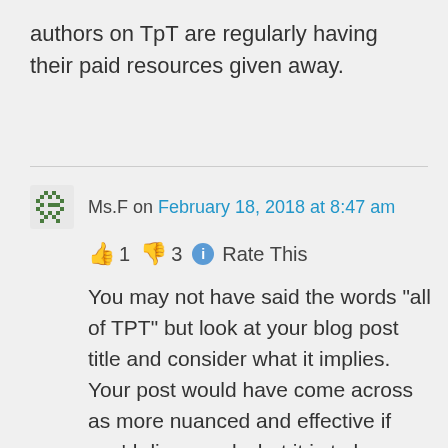authors on TpT are regularly having their paid resources given away.
Ms.F on February 18, 2018 at 8:47 am
👍 1 👎 3 ℹ Rate This
You may not have said the words "all of TPT" but look at your blog post title and consider what it implies. Your post would have come across as more nuanced and effective if you'd discussed what it is to be a good digital citizen and how to protect your work regardless of what field you're in.